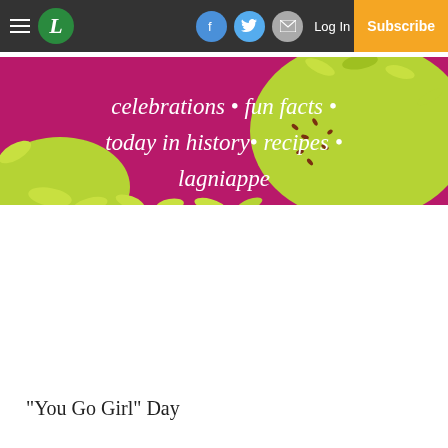L | Log In | Subscribe
[Figure (illustration): Decorative banner with magenta/purple and lime green floral design with text: celebrations • fun facts • today in history • recipes • lagniappe]
“You Go Girl” Day